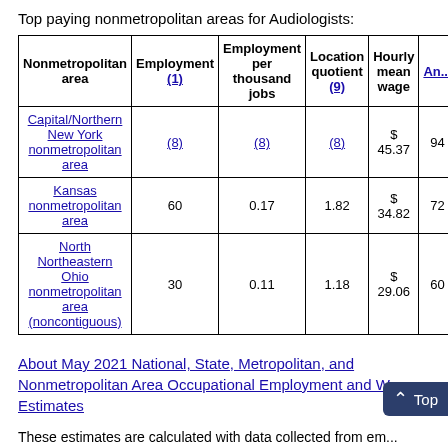Top paying nonmetropolitan areas for Audiologists:
| Nonmetropolitan area | Employment (1) | Employment per thousand jobs | Location quotient (9) | Hourly mean wage | An... m... wa... (6) |
| --- | --- | --- | --- | --- | --- |
| Capital/Northern New York nonmetropolitan area | (8) | (8) | (8) | $ 45.37 | 94... |
| Kansas nonmetropolitan area | 60 | 0.17 | 1.82 | $ 34.82 | 72... |
| North Northeastern Ohio nonmetropolitan area (noncontiguous) | 30 | 0.11 | 1.18 | $ 29.06 | 60... |
About May 2021 National, State, Metropolitan, and Nonmetropolitan Area Occupational Employment and Wage Estimates
These estimates are calculated with data collected from em... all industries, except owners and directors, and are to...